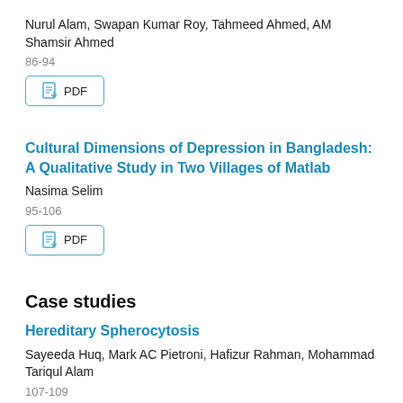Nurul Alam, Swapan Kumar Roy, Tahmeed Ahmed, AM Shamsir Ahmed
86-94
[Figure (other): PDF download button]
Cultural Dimensions of Depression in Bangladesh: A Qualitative Study in Two Villages of Matlab
Nasima Selim
95-106
[Figure (other): PDF download button]
Case studies
Hereditary Spherocytosis
Sayeeda Huq, Mark AC Pietroni, Hafizur Rahman, Mohammad Tariqul Alam
107-109
[Figure (other): PDF download button (partially visible)]